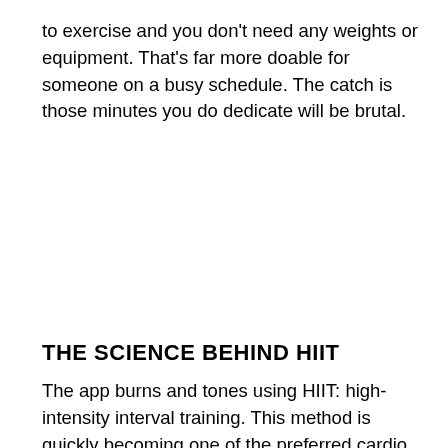to exercise and you don't need any weights or equipment. That's far more doable for someone on a busy schedule. The catch is those minutes you do dedicate will be brutal.
THE SCIENCE BEHIND HIIT
The app burns and tones using HIIT: high-intensity interval training. This method is quickly becoming one of the preferred cardio routines for people who want to lose